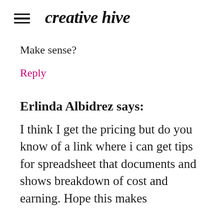creative hive
Make sense?
Reply
Erlinda Albidrez says:
I think I get the pricing but do you know of a link where i can get tips for spreadsheet that documents and shows breakdown of cost and earning. Hope this makes